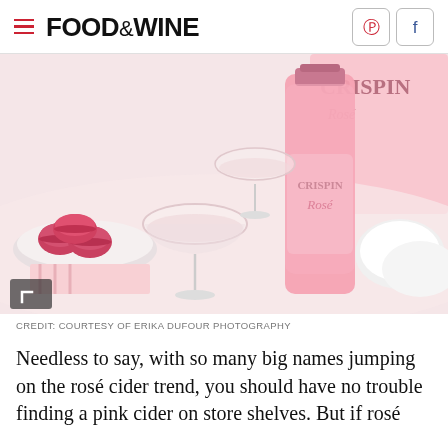FOOD&WINE
[Figure (photo): A pink Crispin Rosé cider bottle next to two coupe glasses filled with pale rosé liquid, with red macarons in a dish on the left, set on a white table. A pink Crispin Rosé branded box is visible in the upper right background.]
CREDIT: COURTESY OF ERIKA DUFOUR PHOTOGRAPHY
Needless to say, with so many big names jumping on the rosé cider trend, you should have no trouble finding a pink cider on store shelves. But if rosé